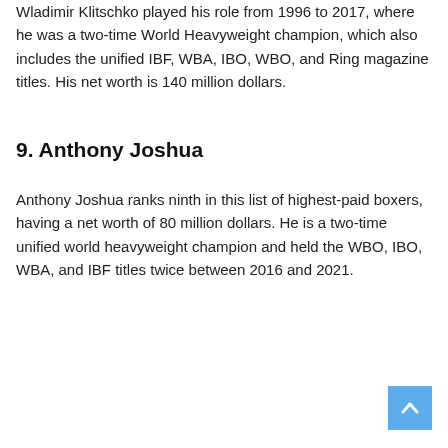Wladimir Klitschko played his role from 1996 to 2017, where he was a two-time World Heavyweight champion, which also includes the unified IBF, WBA, IBO, WBO, and Ring magazine titles. His net worth is 140 million dollars.
9. Anthony Joshua
Anthony Joshua ranks ninth in this list of highest-paid boxers, having a net worth of 80 million dollars. He is a two-time unified world heavyweight champion and held the WBO, IBO, WBA, and IBF titles twice between 2016 and 2021.